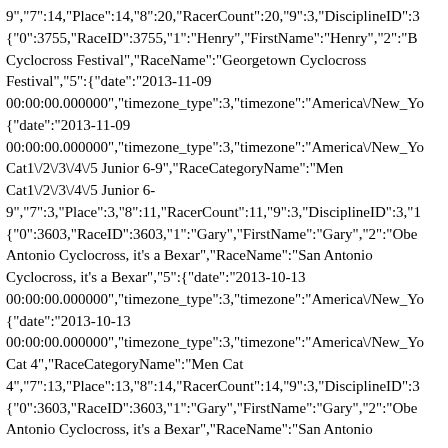9","7":14,"Place":14,"8":20,"RacerCount":20,"9":3,"DisciplineID":3 {"0":3755,"RaceID":3755,"1":"Henry","FirstName":"Henry","2":"B Cyclocross Festival","RaceName":"Georgetown Cyclocross Festival","5":{"date":"2013-11-09 00:00:00.000000","timezone_type":3,"timezone":"America\/New_Yo {"date":"2013-11-09 00:00:00.000000","timezone_type":3,"timezone":"America\/New_Yo Cat1\/2\/3\/4\/5 Junior 6-9","RaceCategoryName":"Men Cat1\/2\/3\/4\/5 Junior 6-9","7":3,"Place":3,"8":11,"RacerCount":11,"9":3,"DisciplineID":3,"1 {"0":3603,"RaceID":3603,"1":"Gary","FirstName":"Gary","2":"Obe Antonio Cyclocross, it's a Bexar","RaceName":"San Antonio Cyclocross, it's a Bexar","5":{"date":"2013-10-13 00:00:00.000000","timezone_type":3,"timezone":"America\/New_Yo {"date":"2013-10-13 00:00:00.000000","timezone_type":3,"timezone":"America\/New_Yo Cat 4","RaceCategoryName":"Men Cat 4","7":13,"Place":13,"8":14,"RacerCount":14,"9":3,"DisciplineID":3 {"0":3603,"RaceID":3603,"1":"Gary","FirstName":"Gary","2":"Obe Antonio Cyclocross, it's a Bexar","RaceName":"San Antonio Cyclocross, it's a Bexar","5":{"date":"2013-10-13 00:00:00.000000","timezone_type":3,"timezone":"America\/New_Yo {"date":"2013-10-13 00:00:00.000000","timezone_type":3,"timezone":"America\/New_Yo Cat1\/2\/3\/4\/5 Master 40+","RaceCategoryName":"Men